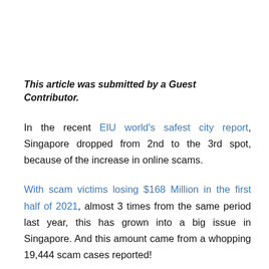This article was submitted by a Guest Contributor.
In the recent EIU world's safest city report, Singapore dropped from 2nd to the 3rd spot, because of the increase in online scams.
With scam victims losing $168 Million in the first half of 2021, almost 3 times from the same period last year, this has grown into a big issue in Singapore. And this amount came from a whopping 19,444 scam cases reported!